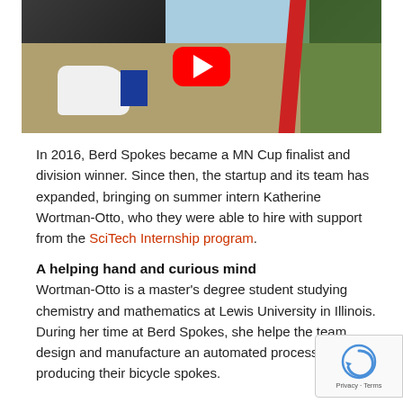[Figure (photo): Video thumbnail showing close-up of bicycle wheels and cycling shoes on pavement, with a YouTube play button overlay in the center.]
In 2016, Berd Spokes became a MN Cup finalist and division winner. Since then, the startup and its team has expanded, bringing on summer intern Katherine Wortman-Otto, who they were able to hire with support from the SciTech Internship program.
A helping hand and curious mind
Wortman-Otto is a master's degree student studying chemistry and mathematics at Lewis University in Illinois. During her time at Berd Spokes, she helped the team design and manufacture an automated process for producing their bicycle spokes.